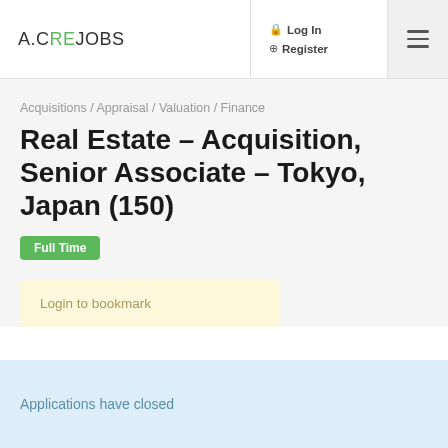A.CRE JOBS
Log In  Register
Acquisitions / Appraisal / Valuation / Finance
Real Estate – Acquisition, Senior Associate – Tokyo, Japan (150)
Full Time
Login to bookmark
Applications have closed